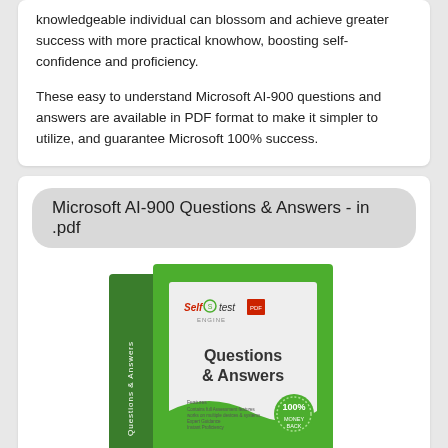knowledgeable individual can blossom and achieve greater success with more practical knowhow, boosting self-confidence and proficiency.
These easy to understand Microsoft AI-900 questions and answers are available in PDF format to make it simpler to utilize, and guarantee Microsoft 100% success.
Microsoft AI-900 Questions & Answers - in .pdf
[Figure (photo): Self Test Engine product box showing Questions & Answers PDF product with 100% guarantee badge]
Total PDF Q & A: 49